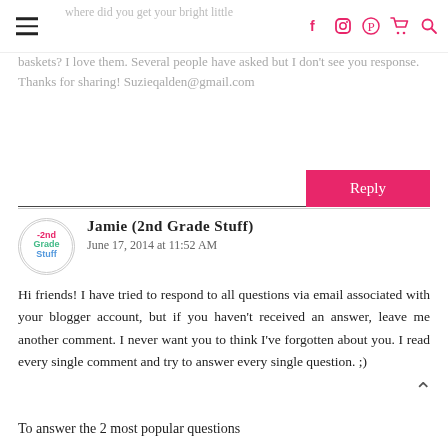Navigation menu and social icons header
baskets? I love them. Several people have asked but I don't see you response. Thanks for sharing! Suzieqalden@gmail.com
Reply
Jamie (2nd Grade Stuff)
June 17, 2014 at 11:52 AM
Hi friends! I have tried to respond to all questions via email associated with your blogger account, but if you haven't received an answer, leave me another comment. I never want you to think I've forgotten about you. I read every single comment and try to answer every single question. ;)
To answer the 2 most popular questions